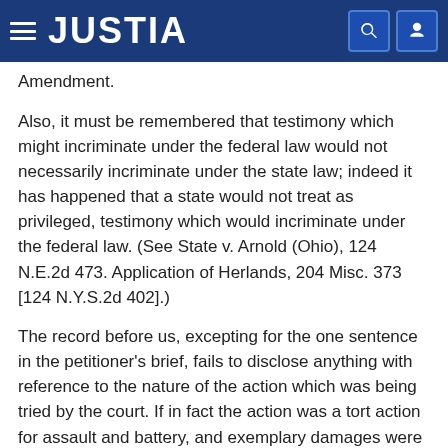JUSTIA
Amendment.
Also, it must be remembered that testimony which might incriminate under the federal law would not necessarily incriminate under the state law; indeed it has happened that a state would not treat as privileged, testimony which would incriminate under the federal law. (See State v. Arnold (Ohio), 124 N.E.2d 473. Application of Herlands, 204 Misc. 373 [124 N.Y.S.2d 402].)
The record before us, excepting for the one sentence in the petitioner's brief, fails to disclose anything with reference to the nature of the action which was being tried by the court. If in fact the action was a tort action for assault and battery, and exemplary damages were being sought then very probably the wealth of the defendant was relevant and inquiry could ordinarily be